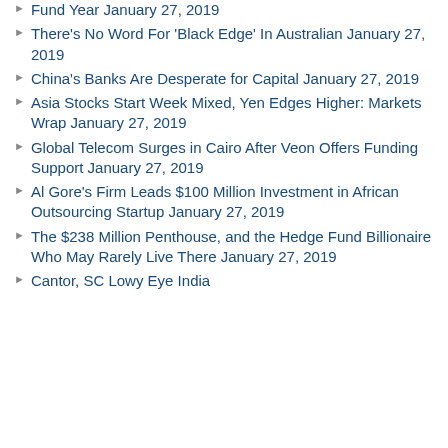Fund Year January 27, 2019
There's No Word For 'Black Edge' In Australian January 27, 2019
China's Banks Are Desperate for Capital January 27, 2019
Asia Stocks Start Week Mixed, Yen Edges Higher: Markets Wrap January 27, 2019
Global Telecom Surges in Cairo After Veon Offers Funding Support January 27, 2019
Al Gore's Firm Leads $100 Million Investment in African Outsourcing Startup January 27, 2019
The $238 Million Penthouse, and the Hedge Fund Billionaire Who May Rarely Live There January 27, 2019
Cantor, SC Lowy Eye India